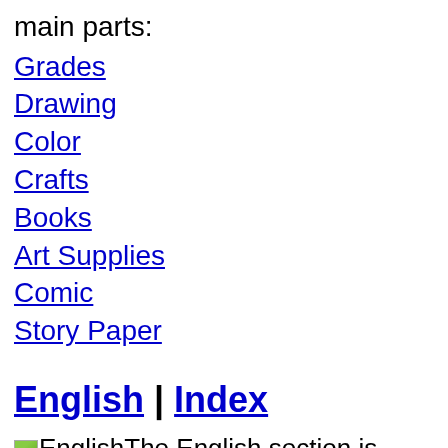main parts:
Grades
Drawing
Color
Crafts
Books
Art Supplies
Comic
Story Paper
English | Index
The English section is challenging to work on because it is the last place that I want to causally type up articles with poor grammar, iffy usage, and typing errors. I like the subject and when I get over my fear of making mistakes in this section, it ought to grow like crazy. Forms
Dictionary Skills
Spelling
Vocabulary
Grammar